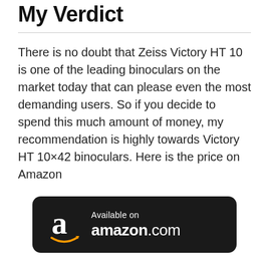My Verdict
There is no doubt that Zeiss Victory HT 10 is one of the leading binoculars on the market today that can please even the most demanding users. So if you decide to spend this much amount of money, my recommendation is highly towards Victory HT 10×42 binoculars. Here is the price on Amazon
[Figure (logo): Available on amazon.com button — black rounded rectangle with white Amazon logo (stylized 'a' with orange smile arrow) and text 'Available on amazon.com']